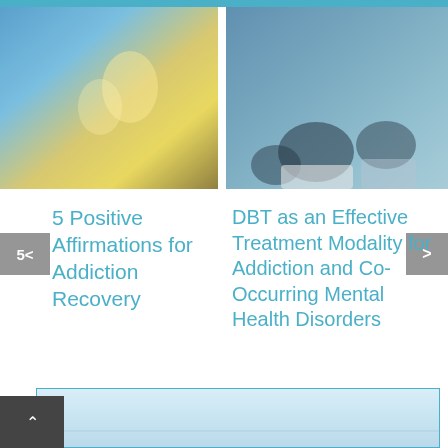[Figure (photo): Woman in soft blue and yellow-toned environment, left panel]
[Figure (photo): Audience viewed from behind in blue-tinted monochrome, right panel]
5 Positive Affirmations for Addiction Recovery
DBT as an Effective Treatment Modality for Addiction and Co-Occurring Mental Health Disorders
[Figure (photo): Partial sky/ocean image at bottom of page with teal border]